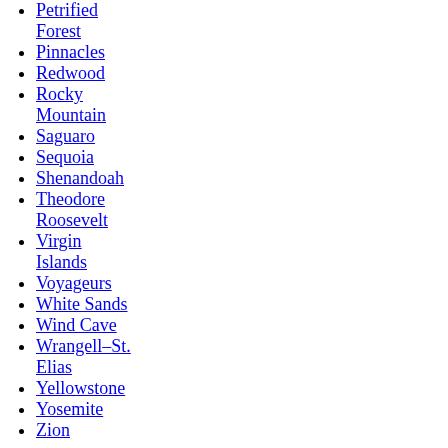Petrified Forest
Pinnacles
Redwood
Rocky Mountain
Saguaro
Sequoia
Shenandoah
Theodore Roosevelt
Virgin Islands
Voyageurs
White Sands
Wind Cave
Wrangell–St. Elias
Yellowstone
Yosemite
Zion
List of national parks of the United States (by elevation)
World Heritage Sites in the United States